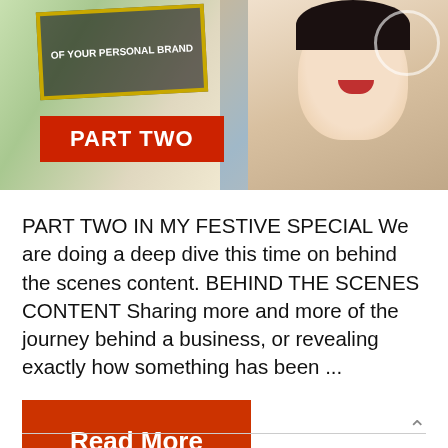[Figure (photo): Blog post thumbnail showing a smiling woman with a red 'PART TWO' banner and a gold-framed sign reading 'OF YOUR PERSONAL BRAND']
PART TWO IN MY FESTIVE SPECIAL We are doing a deep dive this time on behind the scenes content. BEHIND THE SCENES CONTENT Sharing more and more of the journey behind a business, or revealing exactly how something has been ...
Read More